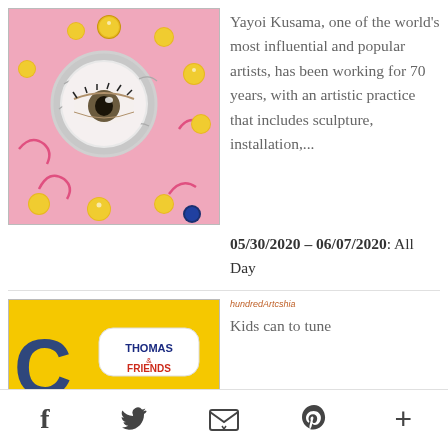[Figure (photo): Yayoi Kusama artwork: pink mask with silver foil circle cutout showing an eye, decorated with gold glitter dots and pink spiral swirls]
Yayoi Kusama, one of the world's most influential and popular artists, has been working for 70 years, with an artistic practice that includes sculpture, installation,...
05/30/2020 - 06/07/2020: All Day
[Figure (photo): Thomas & Friends yellow banner with Thomas & Friends logo]
hundredArtcshia
Kids can to tune
f  Twitter  Email  Pinterest  +